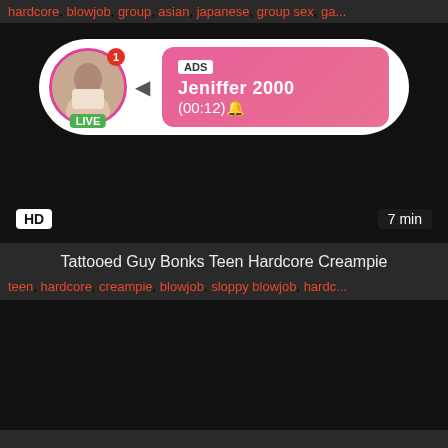hardcore, blowjob, group, asian, japanese, group sex, ga...
[Figure (screenshot): Dark video thumbnail with an ad popup overlay showing a live user named Jeniffer 2000 with a profile photo, LIVE badge, ADS label, and timer (00:12). HD badge bottom left, 7 min badge bottom right.]
Tattooed Guy Bonks Teen Hardcore Creampie
teen, hardcore, creampie, blowjob, sloppy blowjob, hardc...
[Figure (screenshot): Dark video thumbnail, second video block.]